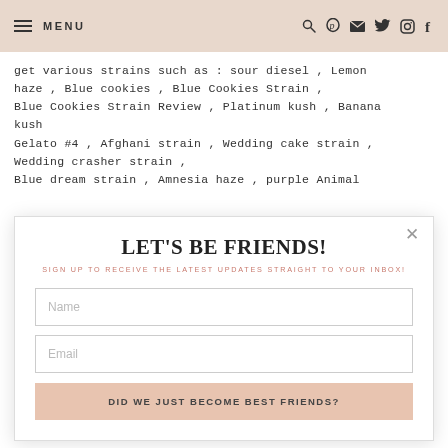MENU (navigation bar with hamburger icon and social icons: search, pinterest, email, twitter, instagram, facebook)
get various strains such as : sour diesel , Lemon haze , Blue cookies , Blue Cookies Strain , Blue Cookies Strain Review , Platinum kush , Banana kush
Gelato #4 , Afghani strain , Wedding cake strain , Wedding crasher strain ,
Blue dream strain , Amnesia haze , purple Animal
LET'S BE FRIENDS!
SIGN UP TO RECEIVE THE LATEST UPDATES STRAIGHT TO YOUR INBOX!
Name
Email
DID WE JUST BECOME BEST FRIENDS?